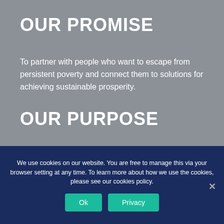OUR PROMISE
To partner with people who want to escape from persistent poverty and connect them to solutions for achieving sustainable prosperity.
OUR PURPOSE
Talent is equally distributed across the U.S. and opportunity is not. Access to opportunities should not
We use cookies on our website. You are free to manage this via your browser setting at any time. To learn more about how we use the cookies, please see our cookies policy.